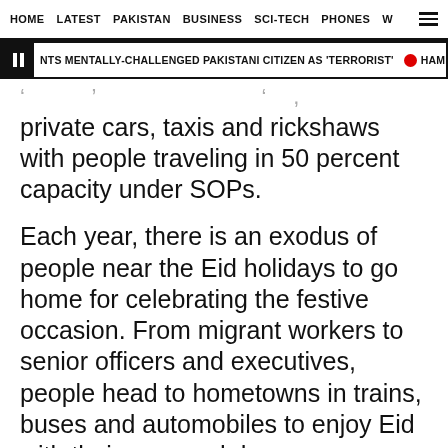HOME   LATEST   PAKISTAN   BUSINESS   SCI-TECH   PHONES   W ☰
NTS MENTALLY-CHALLENGED PAKISTANI CITIZEN AS 'TERRORIST' • HAMID KHAN TO
private cars, taxis and rickshaws with people traveling in 50 percent capacity under SOPs.
Each year, there is an exodus of people near the Eid holidays to go home for celebrating the festive occasion. From migrant workers to senior officers and executives, people head to hometowns in trains, buses and automobiles to enjoy Eid with their near and dear ones.
However, a large section of homeward-bound travellers are likely to spend the holidays in lockdown. The notification said that in pursuance of